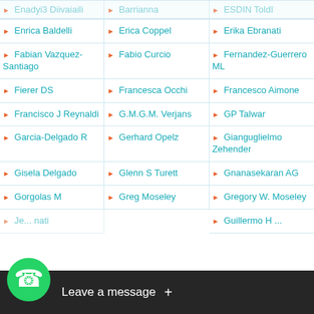Enrica Baldelli
Erica Coppel
Erika Ebranati
Fabian Vazquez-Santiago
Fabio Curcio
Fernandez-Guerrero ML
Fierer DS
Francesca Occhi
Francesco Aimone
Francisco J Reynaldi
G.M.G.M. Verjans
GP Talwar
Garcia-Delgado R
Gerhard Opelz
Gianguglielmo Zehender
Gisela Delgado
Glenn S Turett
Gnanasekaran AG
Gorgolas M
Greg Moseley
Gregory W. Moseley
Guillermo H ...